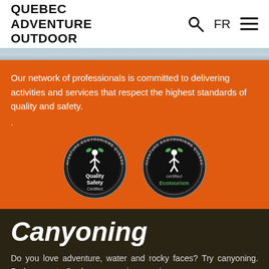QUEBEC ADVENTURE OUTDOOR
Our network of professionals is committed to delivering activities and services that respect the highest standards of quality and safety.
[Figure (logo): Two round certification badges: 'Quality Safety Certified' and 'certified Ecotourism', both with 'AVENTURE ECOTOURISME QUEBEC' around the border.]
Canyoning
Do you love adventure, water and rocky faces? Try canyoning. Rather new to Quebec, canyoning promises